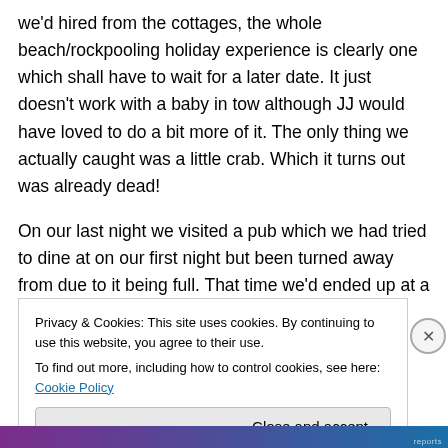we'd hired from the cottages, the whole beach/rockpooling holiday experience is clearly one which shall have to wait for a later date. It just doesn't work with a baby in tow although JJ would have loved to do a bit more of it. The only thing we actually caught was a little crab. Which it turns out was already dead!
On our last night we visited a pub which we had tried to dine at on our first night but been turned away from due to it being full. That time we'd ended up at a much less well frequented place which served decidedly mediocre food (a
Privacy & Cookies: This site uses cookies. By continuing to use this website, you agree to their use.
To find out more, including how to control cookies, see here: Cookie Policy
Close and accept